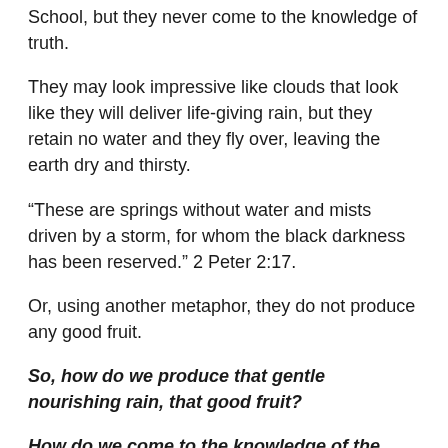School, but they never come to the knowledge of truth.
They may look impressive like clouds that look like they will deliver life-giving rain, but they retain no water and they fly over, leaving the earth dry and thirsty.
“These are springs without water and mists driven by a storm, for whom the black darkness has been reserved.” 2 Peter 2:17.
Or, using another metaphor, they do not produce any good fruit.
So, how do we produce that gentle nourishing rain, that good fruit?
How do we come to the knowledge of the truth?
First, it is important to know how we cannot do it.